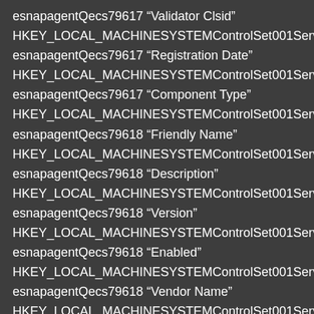esnapagentQecs79617 “Validator Clsid” HKEY_LOCAL_MACHINESYSTEMControlSet001ServicesnapagentQecs79617 “Registration Date” HKEY_LOCAL_MACHINESYSTEMControlSet001ServicesnapagentQecs79617 “Component Type” HKEY_LOCAL_MACHINESYSTEMControlSet001ServicesnapagentQecs79618 “Friendly Name” HKEY_LOCAL_MACHINESYSTEMControlSet001ServicesnapagentQecs79618 “Description” HKEY_LOCAL_MACHINESYSTEMControlSet001ServicesnapagentQecs79618 “Version” HKEY_LOCAL_MACHINESYSTEMControlSet001ServicesnapagentQecs79618 “Enabled” HKEY_LOCAL_MACHINESYSTEMControlSet001ServicesnapagentQecs79618 “Vendor Name” HKEY_LOCAL_MACHINESYSTEMControlSet001ServicesnapagentQecs79618 “Info Clsid” HKEY_LOCAL_MACHINESYSTEMControlSet001Servic